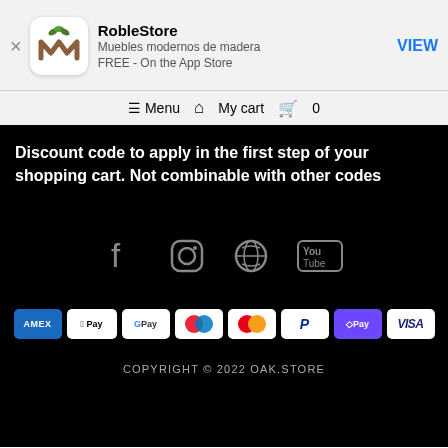[Figure (screenshot): App store banner with RobleStore app icon (brown M logo with green leaves), app name, subtitle, and VIEW button]
≡ Menu  🏠  My cart  🛒  0
Discount code to apply in the first step of your shopping cart. Not combinable with other codes
[Figure (infographic): Social media icons: Facebook, Instagram, Pinterest, YouTube]
[Figure (infographic): Payment method badges: AMEX, Apple Pay, G Pay, Maestro, Mastercard, PayPal, D Pay, VISA]
COPYRIGHT © 2022 OAK.STORE